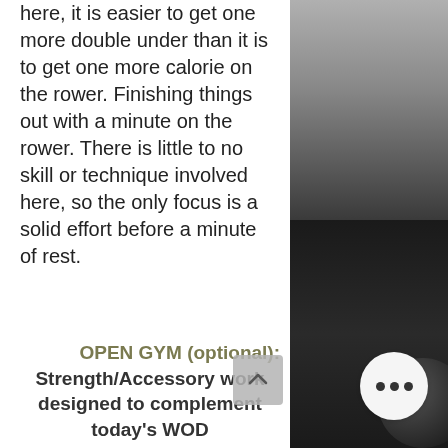here, it is easier to get one more double under than it is to get one more calorie on the rower. Finishing things out with a minute on the rower. There is little to no skill or technique involved here, so the only focus is a solid effort before a minute of rest.
[Figure (photo): Black and white photo of a gym, showing dark walls and a barbell weight plate in the lower right]
OPEN GYM (optional): Strength/Accessory work designed to complement today's WOD
1. Strict Handstand Push-ups
Max Str...